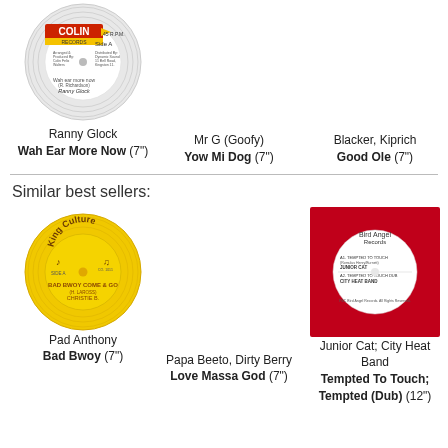[Figure (photo): Colin Records 7-inch vinyl label - Side A, Ranny Glock - Wah Ear More Now]
Ranny Glock
Wah Ear More Now (7")
Mr G (Goofy)
Yow Mi Dog (7")
Blacker, Kiprich
Good Ole (7")
Similar best sellers:
[Figure (photo): King Culture yellow 7-inch vinyl label - Side A, Christie B - Bad Bwoy Come & Go]
Pad Anthony
Bad Bwoy (7")
Papa Beeto, Dirty Berry
Love Massa God (7")
[Figure (photo): Red vinyl 12-inch record - Junior Cat; City Heat Band - Tempted To Touch; Tempted (Dub)]
Junior Cat; City Heat Band
Tempted To Touch; Tempted (Dub) (12")